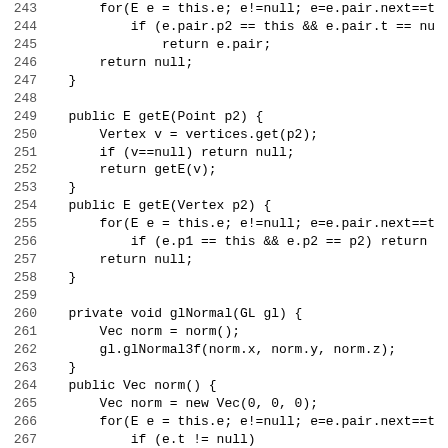[Figure (screenshot): Source code listing in Java showing methods getE, glNormal, norm, bindTo and class BindingGroup, with line numbers 244-275, displayed in monospace font on white background.]